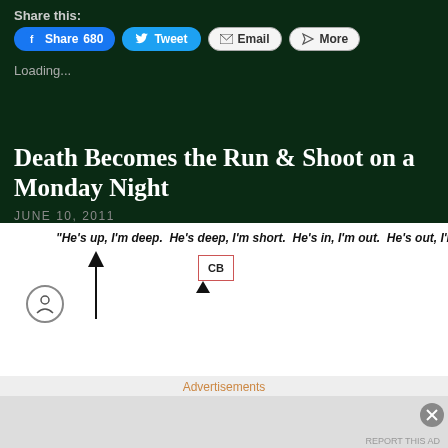Share this:
[Figure (screenshot): Social share buttons: Facebook Share 680, Tweet, Email, More]
Loading...
Death Becomes the Run & Shoot on a Monday Night
JUNE 10, 2011
[Figure (illustration): Football diagram showing arrow pointing upward and a CB box with red border, with quote text: He's up, I'm deep. He's deep, I'm short. He's in, I'm out. He's out, I'm in]
Advertisements
REPORT THIS AD